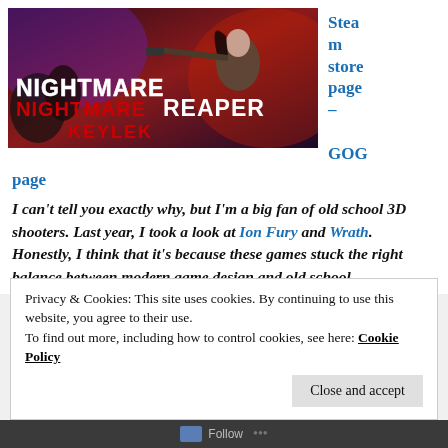[Figure (illustration): Nightmare Reaper game promotional artwork showing a female character with a gun against a dark red/purple background with game title text 'NIGHTMARE REAPER' in stylized white and red fonts]
Steam store page – GOG page
I can't tell you exactly why, but I'm a big fan of old school 3D shooters. Last year, I took a look at Ion Fury and Wrath. Honestly, I think that it's because these games stuck the right balance between modern game design and old school
Privacy & Cookies: This site uses cookies. By continuing to use this website, you agree to their use.
To find out more, including how to control cookies, see here: Cookie Policy
Close and accept